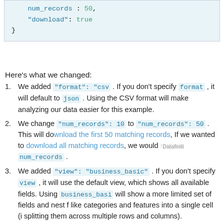num_records : 50,
    "download": true
}
Here's what we changed:
We added "format": "csv . If you don't specify format , it will default to json . Using the CSV format will make analyzing our data easier for this example.
We change "num_records": 10 to "num_records": 50 . This will download the first 50 matching records, If we wanted to download all matching records, we would remove num_records .
We added "view": "business_basic" . If you don't specify view , it will use the default view, which shows all available fields. Using business_basic will show a more limited set of fields and nest fields like categories and features into a single cell (instead of splitting them across multiple rows and columns).